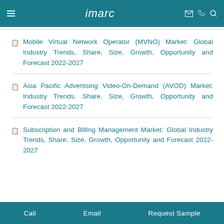imarc
📋 Mobile Virtual Network Operator (MVNO) Market: Global Industry Trends, Share, Size, Growth, Opportunity and Forecast 2022-2027
📋 Asia Pacific Advertising Video-On-Demand (AVOD) Market: Industry Trends, Share, Size, Growth, Opportunity and Forecast 2022-2027
📋 Subscription and Billing Management Market: Global Industry Trends, Share, Size, Growth, Opportunity and Forecast 2022-2027
Call   Email   Request Sample